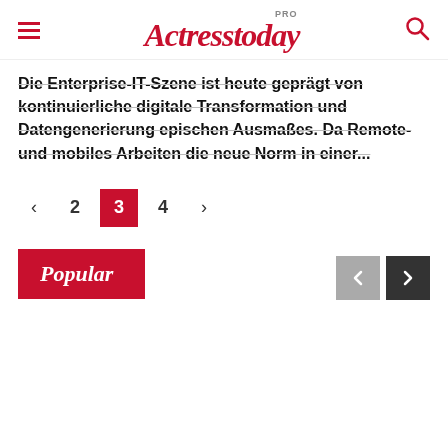Actresstoday PRO
Die Enterprise-IT-Szene ist heute geprägt von kontinuierliche digitale Transformation und Datengenerierung epischen Ausmaßes. Da Remote- und mobiles Arbeiten die neue Norm in einer...
< 2 3 4 >
Popular